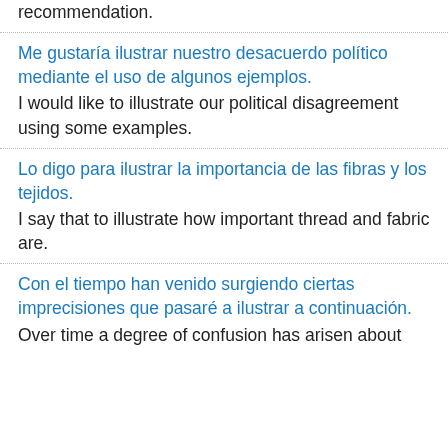concern using three elements of the draft recommendation.
Me gustaría ilustrar nuestro desacuerdo político mediante el uso de algunos ejemplos.
I would like to illustrate our political disagreement using some examples.
Lo digo para ilustrar la importancia de las fibras y los tejidos.
I say that to illustrate how important thread and fabric are.
Con el tiempo han venido surgiendo ciertas imprecisiones que pasaré a ilustrar a continuación.
Over time a degree of confusion has arisen about